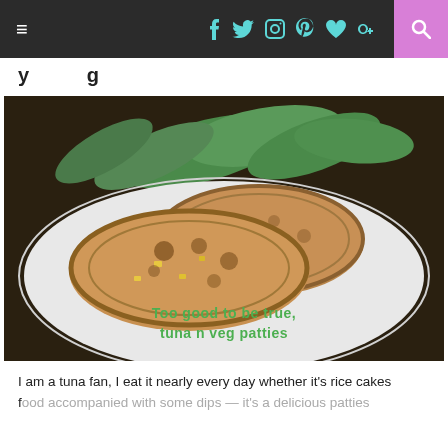≡ [social icons: f, twitter, instagram, pinterest, heart, g+] [search]
too good to be true... tuna n veg patties
[Figure (photo): Two golden-brown tuna and vegetable patties on a white plate with snow peas in the background. Overlaid text reads: 'Too good to be true, tuna n veg patties']
I am a tuna fan, I eat it nearly every day whether it's rice cakes f... [continues]